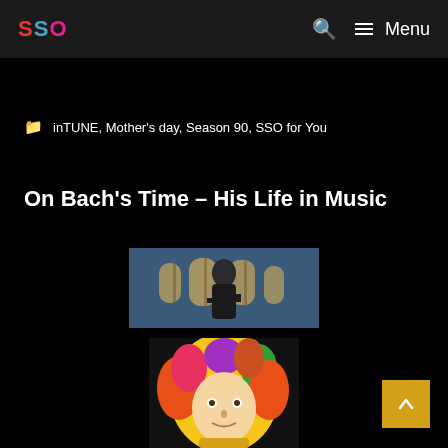SSO  🔍  ≡ Menu
inTUNE, Mother's day, Season 90, SSO for You
On Bach's Time – His Life in Music
[Figure (photo): Photograph of a Bach statue in front of a Gothic church with arched windows]
[Figure (illustration): Colorful illustrated portrait of Bach with decorative wig in vibrant colors]